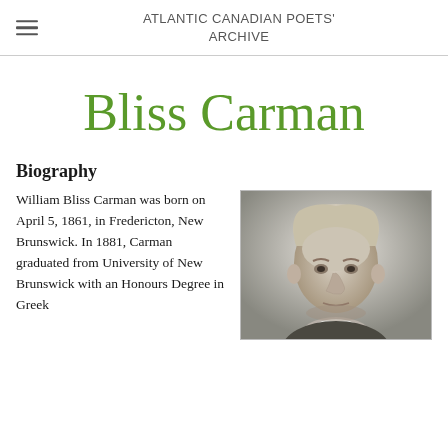ATLANTIC CANADIAN POETS' ARCHIVE
Bliss Carman
Biography
William Bliss Carman was born on April 5, 1861, in Fredericton, New Brunswick. In 1881, Carman graduated from University of New Brunswick with an Honours Degree in Greek
[Figure (photo): Black and white portrait photograph of Bliss Carman, showing his face and upper body, with light hair and wearing a suit with white collar.]